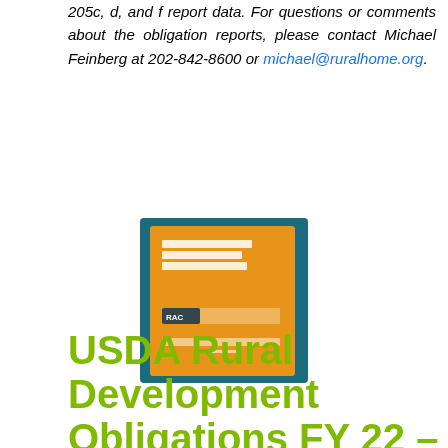205c, d, and f report data. For questions or comments about the obligation reports, please contact Michael Feinberg at 202-842-8600 or michael@ruralhome.org.
[Figure (photo): Book cover image showing a USDA Rural Development Obligations report with orange and teal cover design]
USDA Rural Development Obligations FY 22 –